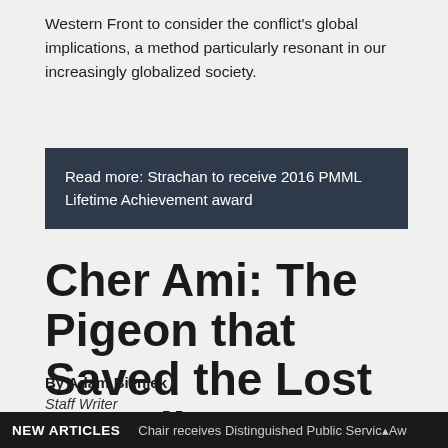Western Front to consider the conflict's global implications, a method particularly resonant in our increasingly globalized society.
Read more: Strachan to receive 2016 PMML Lifetime Achievement award
Cher Ami: The Pigeon that Saved the Lost Battalion
By Adam Bieniek
Staff Writer
Many of us have heard of the Lost Battalion, and know
NEW ARTICLES  Chair receives Distinguished Public Service Award